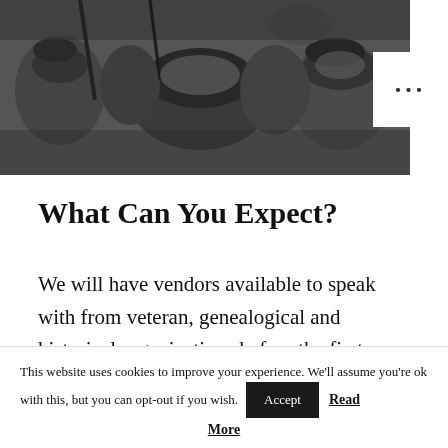[Figure (photo): Black and white photograph of soldiers/veterans wearing helmets, crowded together, viewed from above/side angle]
What Can You Expect?
We will have vendors available to speak with from veteran, genealogical and historical organizations before the first session begins. Attendees also have the option to stay for the
This website uses cookies to improve your experience. We'll assume you're ok with this, but you can opt-out if you wish. Accept Read More